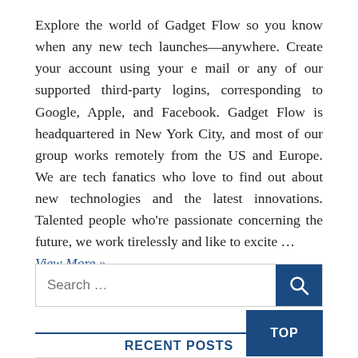Explore the world of Gadget Flow so you know when any new tech launches—anywhere. Create your account using your e mail or any of our supported third-party logins, corresponding to Google, Apple, and Facebook. Gadget Flow is headquartered in New York City, and most of our group works remotely from the US and Europe. We are tech fanatics who love to find out about new technologies and the latest innovations. Talented people who're passionate concerning the future, we work tirelessly and like to excite … View More »
RECENT POSTS